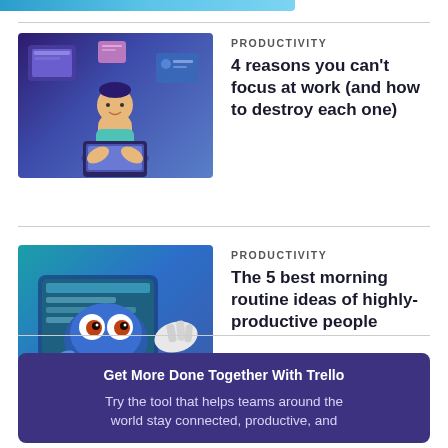[Figure (illustration): Blue gradient banner/bar at top left of page]
[Figure (illustration): Article thumbnail: purple/blue illustration of a person overwhelmed at work with floating UI elements]
PRODUCTIVITY
4 reasons you can't focus at work (and how to destroy each one)
[Figure (illustration): Article thumbnail: teal/blue illustration of a creature with big eyes using a phone while a hand types on a keyboard]
PRODUCTIVITY
The 5 best morning routine ideas of highly-productive people
Get More Done Together With Trello
Try the tool that helps teams around the world stay connected, productive, and